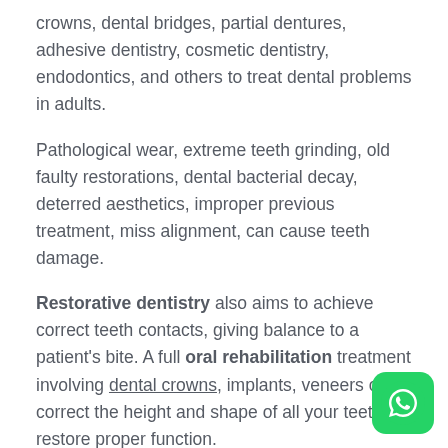crowns, dental bridges, partial dentures, adhesive dentistry, cosmetic dentistry, endodontics, and others to treat dental problems in adults.
Pathological wear, extreme teeth grinding, old faulty restorations, dental bacterial decay, deterred aesthetics, improper previous treatment, miss alignment, can cause teeth damage.
Restorative dentistry also aims to achieve correct teeth contacts, giving balance to a patient's bite. A full oral rehabilitation treatment involving dental crowns, implants, veneers can correct the height and shape of all your teeth to restore proper function.
Specialists in restorative dentistry in Medellin Colom…
[Figure (logo): WhatsApp green button icon in bottom right corner]